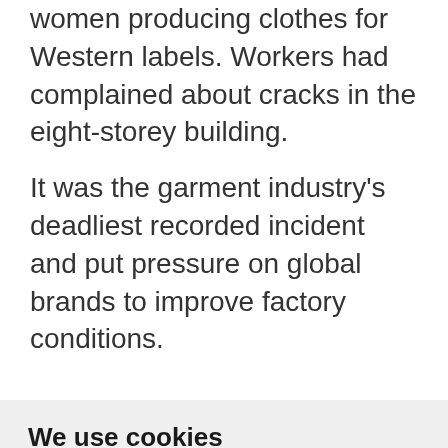women producing clothes for Western labels. Workers had complained about cracks in the eight-storey building.
It was the garment industry's deadliest recorded incident and put pressure on global brands to improve factory conditions.
We use cookies
We use cookies and other tracking technologies to improve your browsing experience on our website, to show you personalized content and targeted ads, to analyze our website traffic, and to understand where our visitors are coming from.